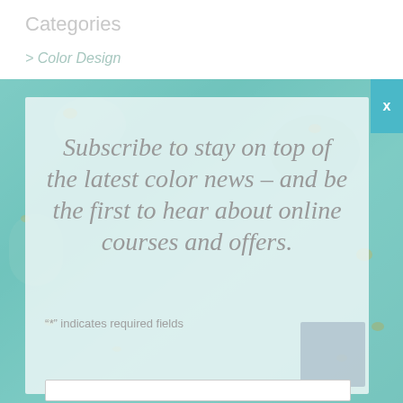Categories
> Color Design
[Figure (other): Teal and gold textured background with a translucent white overlay modal panel, an X close button in blue, and a subscription prompt message]
Subscribe to stay on top of the latest color news – and be the first to hear about online courses and offers.
"*" indicates required fields